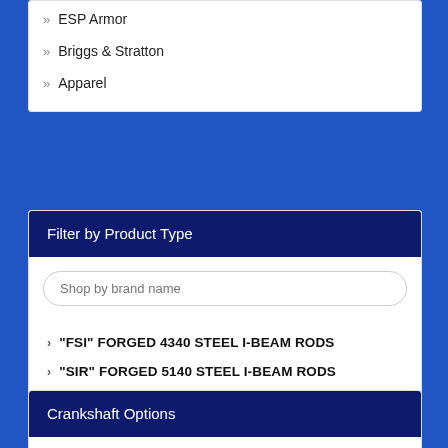» ESP Armor
» Briggs & Stratton
» Apparel
Filter by Product Type
› "FSI" FORGED 4340 STEEL I-BEAM RODS
› "SIR" FORGED 5140 STEEL I-BEAM RODS
› EAGLE
› ROTATING ASSEMBLIES
› SERVICE PARTS
Crankshaft Options